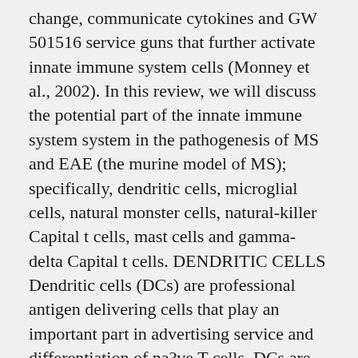change, communicate cytokines and GW 501516 service guns that further activate innate immune system cells (Monney et al., 2002). In this review, we will discuss the potential part of the innate immune system system in the pathogenesis of MS and EAE (the murine model of MS); specifically, dendritic cells, microglial cells, natural monster cells, natural-killer Capital t cells, mast cells and gamma-delta Capital t cells. DENDRITIC CELLS Dendritic cells (DCs) are professional antigen delivering cells that play an important part in advertising service and differentiation of na?ve T cells. DCs are classified into different groups centered on their surface guns. A widely approved classification distinguishes human being DCs into two